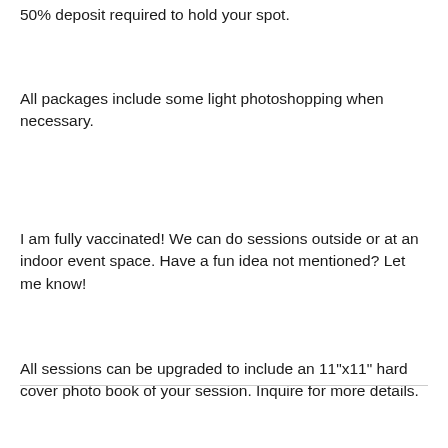50% deposit required to hold your spot.
All packages include some light photoshopping when necessary.
I am fully vaccinated! We can do sessions outside or at an indoor event space. Have a fun idea not mentioned? Let me know!
All sessions can be upgraded to include an 11"x11" hard cover photo book of your session. Inquire for more details.